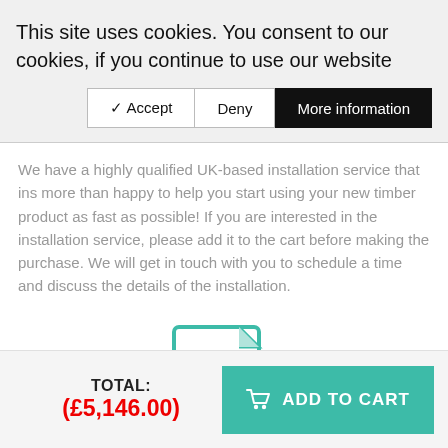This site uses cookies. You consent to our cookies, if you continue to use our website
✔ Accept | Deny | More information
We have a highly qualified UK-based installation service that ins more than happy to help you start using your new timber product as fast as possible! If you are interested in the installation service, please add it to the cart before making the purchase. We will get in touch with you to schedule a time and discuss the details of the installation.
[Figure (illustration): PDF file icon in teal/green color with Adobe Acrobat-style logo and 'PDF' text label]
TOTAL: (£5,146.00)
ADD TO CART